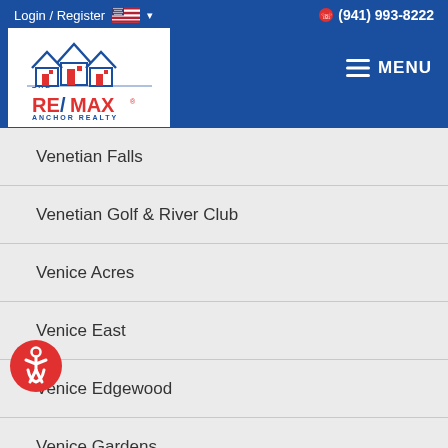Login / Register  (941) 993-8222  The Larson Team RE/MAX Anchor Realty  MENU
Venetian Falls
Venetian Golf & River Club
Venice Acres
Venice East
Venice Edgewood
Venice Gardens
Venice Golf & County Club
Venice Groves
Venice Island